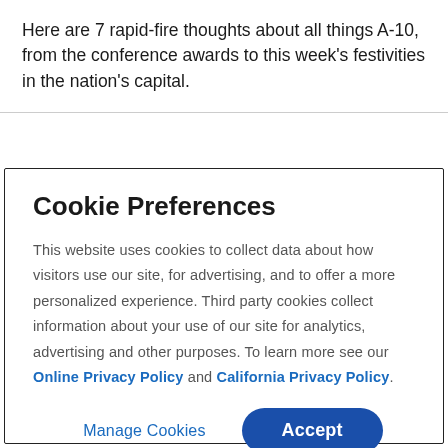Here are 7 rapid-fire thoughts about all things A-10, from the conference awards to this week's festivities in the nation's capital.
Cookie Preferences
This website uses cookies to collect data about how visitors use our site, for advertising, and to offer a more personalized experience. Third party cookies collect information about your use of our site for analytics, advertising and other purposes. To learn more see our Online Privacy Policy and California Privacy Policy.
Manage Cookies | Accept